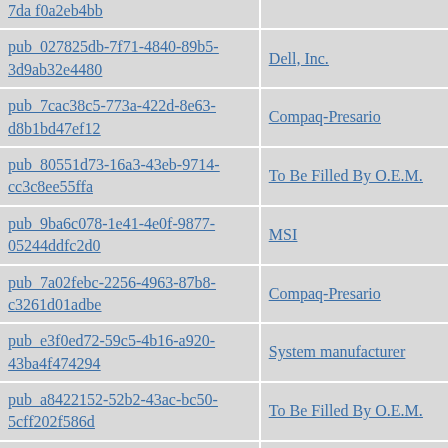| ID | Manufacturer |
| --- | --- |
| pub_027825db-7f71-4840-89b5-3d9ab32e4480 | Dell, Inc. |
| pub_7cac38c5-773a-422d-8e63-d8b1bd47ef12 | Compaq-Presario |
| pub_80551d73-16a3-43eb-9714-cc3c8ee55ffa | To Be Filled By O.E.M. |
| pub_9ba6c078-1e41-4e0f-9877-05244ddfc2d0 | MSI |
| pub_7a02febc-2256-4963-87b8-c3261d01adbe | Compaq-Presario |
| pub_e3f0ed72-59c5-4b16-a920-43ba4f474294 | System manufacturer |
| pub_a8422152-52b2-43ac-bc50-5cff202f586d | To Be Filled By O.E.M. |
| pub_162975a5-6d0d-4769-b09d-e7292493649b | System manufacturer |
| pub_857309c3-405d-4d01-9d18-d9a52f6917d9 | FUJITSU SIEMENS |
| pub_fe3c1cf8-1a85-429a-ae53-5097f8b3a15a | System manufacturer |
| pub_94335dcd-ab26-464d-84bc-a3538a49192e | System manufacturer |
| pub_f04682a6-5d0b-461a-9645-d9fd80722f2c | System manufacturer |